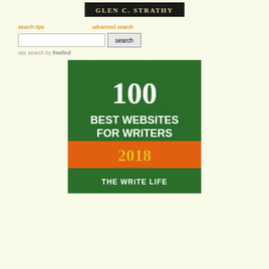GLEN C. STRATHY
search tips   advanced search
[Figure (illustration): Badge image: '100 Best Websites for Writers 2018 - The Write Life' on a green and orange textured background]
site search by freefind